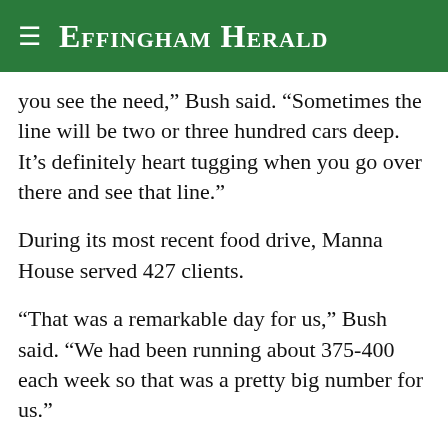Effingham Herald
you see the need,” Bush said. “Sometimes the line will be two or three hundred cars deep. It’s definitely heart tugging when you go over there and see that line.”
During its most recent food drive, Manna House served 427 clients.
“That was a remarkable day for us,” Bush said. “We had been running about 375-400 each week so that was a pretty big number for us.”
Bush said the food pantry prepares to serve 500 clients at each event.
“There has been maybe twice that we actually reached the 500 but for the most part we are ranging from